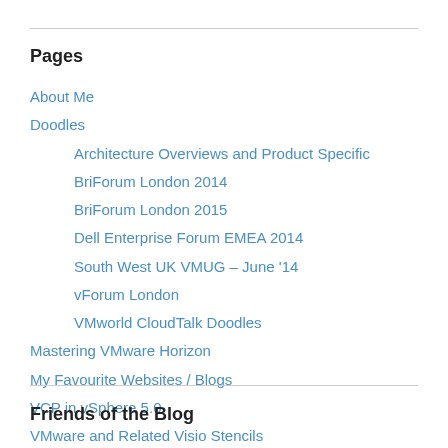Pages
About Me
Doodles
Architecture Overviews and Product Specific
BriForum London 2014
BriForum London 2015
Dell Enterprise Forum EMEA 2014
South West UK VMUG – June '14
vForum London
VMworld CloudTalk Doodles
Mastering VMware Horizon
My Favourite Websites / Blogs
VCP in vSphere 5.0
VMware and Related Visio Stencils
Friends of the Blog